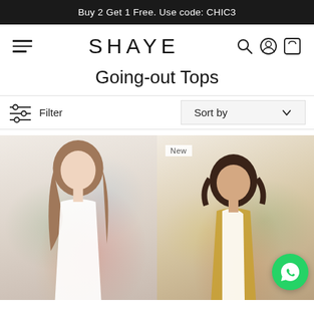Buy 2 Get 1 Free. Use code: CHIC3
SHAYE
Going-out Tops
Filter
Sort by
[Figure (photo): Woman wearing a white floral print long-sleeve top, left product image]
[Figure (photo): Woman wearing a white and yellow floral print top, right product image with New badge]